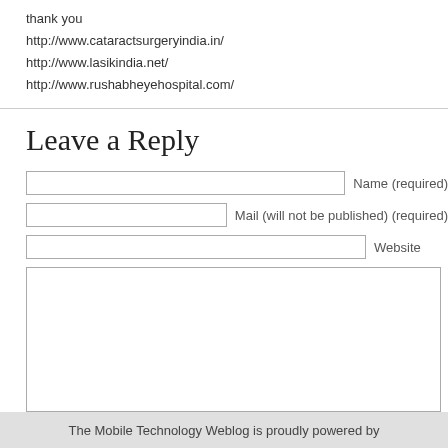thank you
http://www.cataractsurgeryindia.in/
http://www.lasikindia.net/
http://www.rushabheyehospital.com/
Leave a Reply
Name (required)
Mail (will not be published) (required)
Website
Submit Comment
The Mobile Technology Weblog is proudly powered by